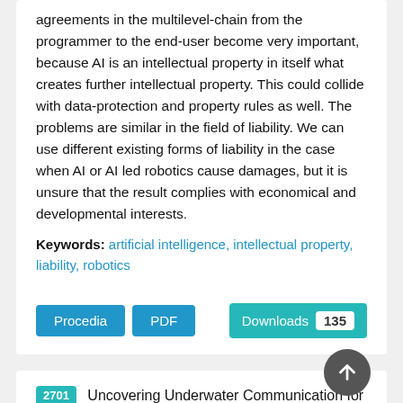agreements in the multilevel-chain from the programmer to the end-user become very important, because AI is an intellectual property in itself what creates further intellectual property. This could collide with data-protection and property rules as well. The problems are similar in the field of liability. We can use different existing forms of liability in the case when AI or AI led robotics cause damages, but it is unsure that the result complies with economical and developmental interests.
Keywords: artificial intelligence, intellectual property, liability, robotics
Procedia | PDF | Downloads 135
2701 Uncovering Underwater Communication for Multi-Robot Applications via CORSICA